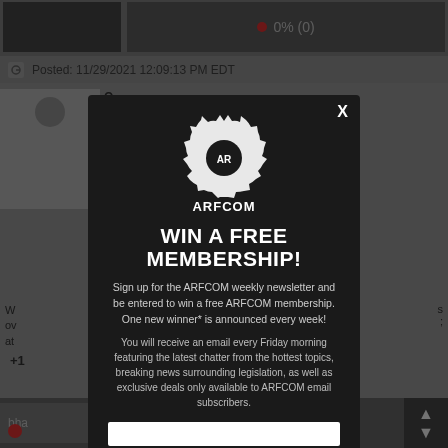[Figure (screenshot): Background page from ARFCOM (AR15.com) website showing a forum post with image thumbnail, rating showing 0% (0), a posted timestamp partially visible, and partial forum content. The entire background is dimmed by a dark overlay.]
[Figure (infographic): ARFCOM modal popup dialog with gear logo, headline 'WIN A FREE MEMBERSHIP!', descriptive text about signing up for weekly newsletter, and an email input field at the bottom.]
WIN A FREE MEMBERSHIP!
Sign up for the ARFCOM weekly newsletter and be entered to win a free ARFCOM membership. One new winner* is announced every week!
You will receive an email every Friday morning featuring the latest chatter from the hottest topics, breaking news surrounding legislation, as well as exclusive deals only available to ARFCOM email subscribers.